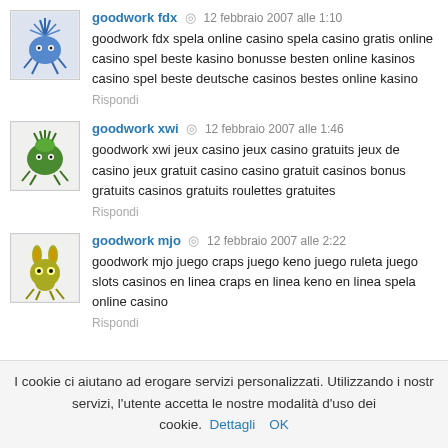goodwork fdx  ◎  12 febbraio 2007 alle 1:10
goodwork fdx spela online casino spela casino gratis online casino spel beste kasino bonusse besten online kasinos casino spel beste deutsche casinos bestes online kasino
Rispondi
goodwork xwi  ◎  12 febbraio 2007 alle 1:46
goodwork xwi jeux casino jeux casino gratuits jeux de casino jeux gratuit casino casino gratuit casinos bonus gratuits casinos gratuits roulettes gratuites
Rispondi
goodwork mjo  ◎  12 febbraio 2007 alle 2:22
goodwork mjo juego craps juego keno juego ruleta juego slots casinos en linea craps en linea keno en linea spela online casino
Rispondi
I cookie ci aiutano ad erogare servizi personalizzati. Utilizzando i nostri servizi, l'utente accetta le nostre modalità d'uso dei cookie. Dettagli  OK